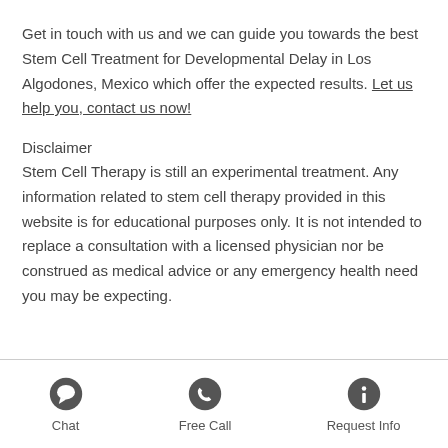Get in touch with us and we can guide you towards the best Stem Cell Treatment for Developmental Delay in Los Algodones, Mexico which offer the expected results. Let us help you, contact us now!
Disclaimer
Stem Cell Therapy is still an experimental treatment. Any information related to stem cell therapy provided in this website is for educational purposes only. It is not intended to replace a consultation with a licensed physician nor be construed as medical advice or any emergency health need you may be expecting.
Chat | Free Call | Request Info